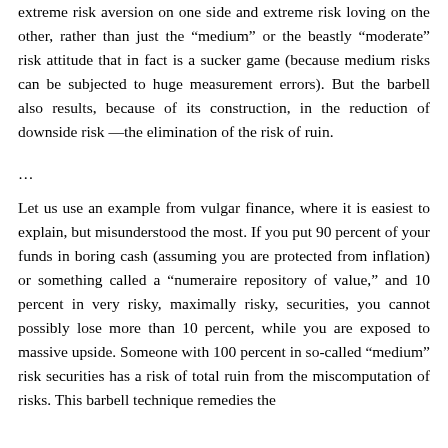extreme risk aversion on one side and extreme risk loving on the other, rather than just the “medium” or the beastly “moderate” risk attitude that in fact is a sucker game (because medium risks can be subjected to huge measurement errors). But the barbell also results, because of its construction, in the reduction of downside risk—the elimination of the risk of ruin.
...
Let us use an example from vulgar finance, where it is easiest to explain, but misunderstood the most. If you put 90 percent of your funds in boring cash (assuming you are protected from inflation) or something called a “numeraire repository of value,” and 10 percent in very risky, maximally risky, securities, you cannot possibly lose more than 10 percent, while you are exposed to massive upside. Someone with 100 percent in so-called “medium” risk securities has a risk of total ruin from the miscomputation of risks. This barbell technique remedies the